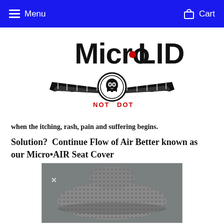Menu  Cart
[Figure (logo): Micro•LID logo with stylized text 'Micro•LID' and wings emblem with skull, and text 'NOT DOT' in red below]
when the itching, rash, pain and suffering begins.
Solution?  Continue Flow of Air Better known as our Micro•AIR Seat Cover
[Figure (photo): Photo of a motorcycle or vehicle seat covered with a mesh/chainmail-style seat cover (Micro•AIR Seat Cover), showing the textured gray mesh material on the seat]